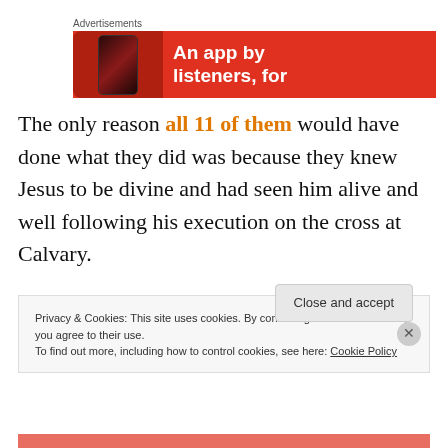Advertisements
[Figure (illustration): Red advertisement banner showing a smartphone and text 'An app by listeners, for']
The only reason all 11 of them would have done what they did was because they knew Jesus to be divine and had seen him alive and well following his execution on the cross at Calvary.
Privacy & Cookies: This site uses cookies. By continuing to use this website, you agree to their use.
To find out more, including how to control cookies, see here: Cookie Policy